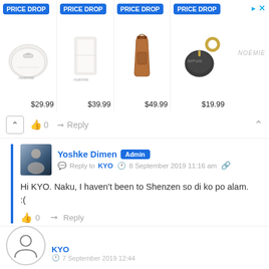[Figure (screenshot): Advertisement banner showing 4 products with PRICE DROP badges: white coin purse $29.99, white wallet $39.99, brown phone bag $49.99, black AirPods case $19.99, with NOEMIE brand label]
0   Reply
Yoshke Dimen Admin
Reply to KYO  8 September 2019 11:16 am
Hi KYO. Naku, I haven't been to Shenzen so di ko po alam. :(
0   Reply
[Figure (illustration): Generic user avatar circle icon for KYO commenter]
KYO  7 September 2019 12:44